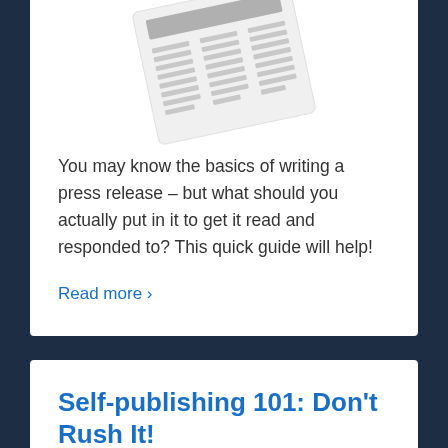[Figure (illustration): A tilted newspaper or press release document illustration in light gray with horizontal line patterns representing text columns]
You may know the basics of writing a press release – but what should you actually put in it to get it read and responded to? This quick guide will help!
Read more ›
Self-publishing 101: Don't Rush It!